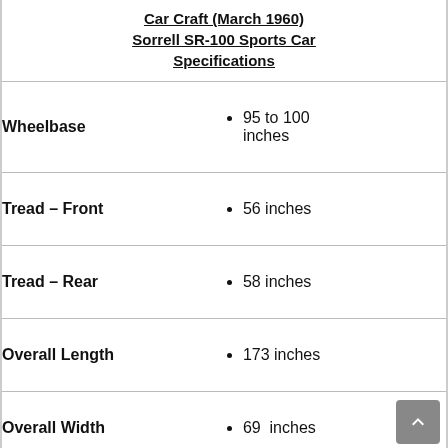Car Craft (March 1960) Sorrell SR-100 Sports Car Specifications
| Specification | Value |
| --- | --- |
| Wheelbase | 95 to 100 inches |
| Tread – Front | 56 inches |
| Tread – Rear | 58 inches |
| Overall Length | 173 inches |
| Overall Width | 69  inches |
| Overall Height at Cowl | 36 inches |